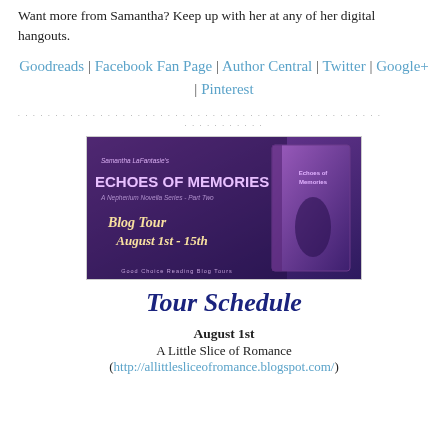Want more from Samantha? Keep up with her at any of her digital hangouts.
Goodreads | Facebook Fan Page | Author Central | Twitter | Google+ | Pinterest
[Figure (illustration): Blog tour banner for Samantha LaFantasie's Echoes of Memories, A Nepherium Novella Series - Part Two. Blog Tour August 1st - 15th. Good Choice Reading Blog Tours.]
Tour Schedule
August 1st
A Little Slice of Romance
(http://allittlesliceofromance.blogspot.com/)